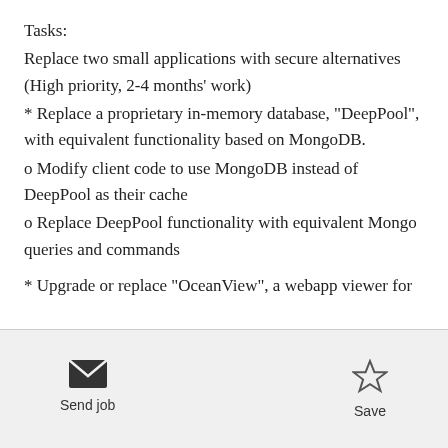Tasks:
Replace two small applications with secure alternatives (High priority, 2-4 months' work)
* Replace a proprietary in-memory database, "DeepPool", with equivalent functionality based on MongoDB.
o Modify client code to use MongoDB instead of DeepPool as their cache
o Replace DeepPool functionality with equivalent Mongo queries and commands
* Upgrade or replace "OceanView", a webapp viewer for
Send job   Save